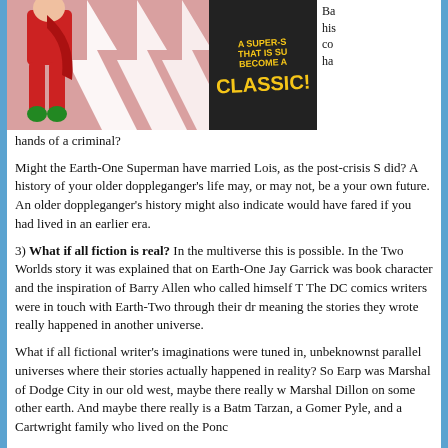[Figure (illustration): Comic book image showing a superhero in red costume with green boots, with lightning bolt background and text reading 'A SUPER-STORY THAT IS SURE TO BECOME A CLASSIC!' on dark background. To the right is partial text about hands of a criminal.]
hands of a criminal?
Might the Earth-One Superman have married Lois, as the post-crisis S did? A history of your older doppleganger's life may, or may not, be a your own future. An older doppleganger's history might also indicate would have fared if you had lived in an earlier era.
3) What if all fiction is real? In the multiverse this is possible. In the Two Worlds story it was explained that on Earth-One Jay Garrick was book character and the inspiration of Barry Allen who called himself T The DC comics writers were in touch with Earth-Two through their dr meaning the stories they wrote really happened in another universe.
What if all fictional writer's imaginations were tuned in, unbeknownst parallel universes where their stories actually happened in reality? So Earp was Marshal of Dodge City in our old west, maybe there really w Marshal Dillon on some other earth. And maybe there really is a Batm Tarzan, a Gomer Pyle, and a Cartwright family who lived on the Ponc
4) What if you were born in another place? In the Elseworld's story Kal-El's spaceship landed on Soviet soil. Superman is an adopted Rus reality. In another universe, might your doppleganger be living in Ger or Australia?
5) ...